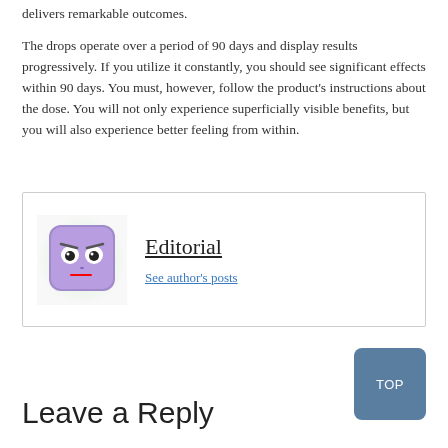delivers remarkable outcomes.
The drops operate over a period of 90 days and display results progressively. If you utilize it constantly, you should see significant effects within 90 days. You must, however, follow the product's instructions about the dose. You will not only experience superficially visible benefits, but you will also experience better feeling from within.
[Figure (illustration): Author avatar: a purple cartoon face with an annoyed expression on a light green-white radial gradient background]
Editorial
See author's posts
Leave a Reply